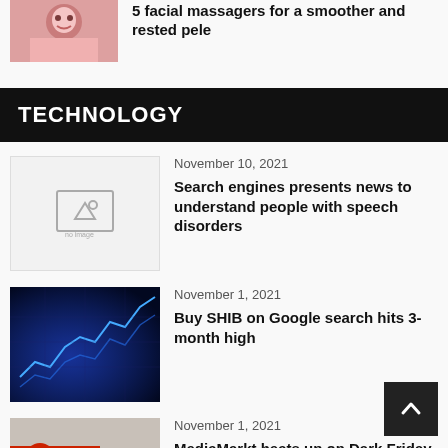[Figure (photo): Thumbnail photo of a woman smiling, top of page article]
5 facial massagers for a smoother and rested pele
TECHNOLOGY
[Figure (photo): Placeholder image icon for article thumbnail]
November 10, 2021
Search engines presents news to understand people with speech disorders
[Figure (photo): Blue stock market chart graphic thumbnail]
November 1, 2021
Buy SHIB on Google search hits 3-month high
[Figure (photo): MediaMarkt store front thumbnail]
November 1, 2021
MediaMarkt heats up on Dark Friday with discount code over 10 pounds